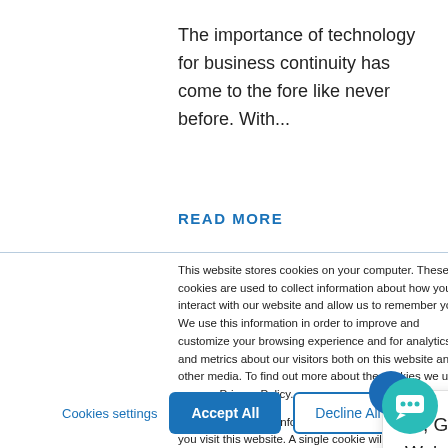The importance of technology for business continuity has come to the fore like never before. With...
READ MORE
This website stores cookies on your computer. These cookies are used to collect information about how you interact with our website and allow us to remember you. We use this information in order to improve and customize your browsing experience and for analytics and metrics about our visitors both on this website and other media. To find out more about the cookies we use, see our Privacy Policy.
If you decline, your information won't be tracked when you visit this website. A single cookie will be used in your browser to remember your preference not to be tracked.
Hi, Got any questions? We're here to help.
Cookies settings
Accept All
Decline All